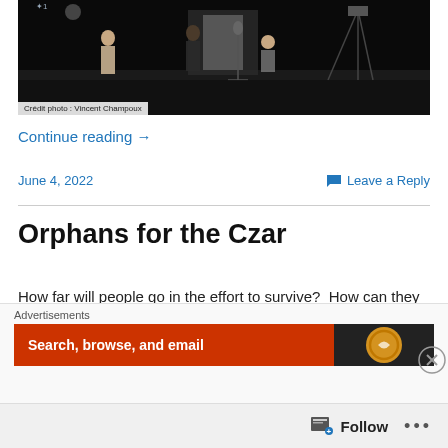[Figure (photo): Stage scene with performers on a dark stage with lighting equipment visible. Three figures are visible on stage.]
Crédit photo : Vincent Champoux
Continue reading →
June 4, 2022    💬 Leave a Reply
Orphans for the Czar
How far will people go in the effort to survive?  How can they preserve some sense of self respect and dignity in
Advertisements Search, browse, and email
Follow ...